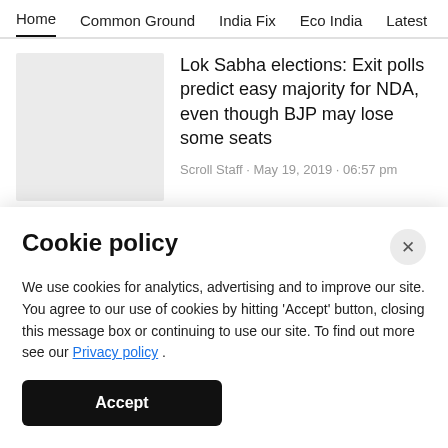Home · Common Ground · India Fix · Eco India · Latest · Th
Lok Sabha elections: Exit polls predict easy majority for NDA, even though BJP may lose some seats
Scroll Staff · May 19, 2019 · 06:57 pm
2019 elections: Mamata Banerjee
Cookie policy
We use cookies for analytics, advertising and to improve our site. You agree to our use of cookies by hitting 'Accept' button, closing this message box or continuing to use our site. To find out more see our Privacy policy .
Accept